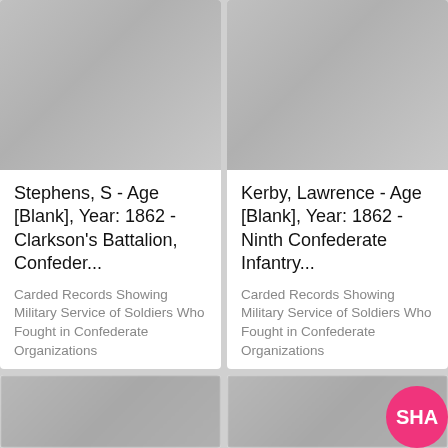[Figure (photo): Scanned microfilm card, mostly blank/light gray with dark border edges, some dust spots visible]
[Figure (photo): Scanned microfilm card, mostly blank/light gray with dark border edges, faint handwriting at top]
Stephens, S - Age [Blank], Year: 1862 - Clarkson's Battalion, Confeder...
Carded Records Showing Military Service of Soldiers Who Fought in Confederate Organizations
Kerby, Lawrence - Age [Blank], Year: 1862 - Ninth Confederate Infantry...
Carded Records Showing Military Service of Soldiers Who Fought in Confederate Organizations
[Figure (photo): Partially visible blurred scanned card at bottom left]
[Figure (photo): Partially visible blurred scanned card at bottom right with SHA pink badge overlay]